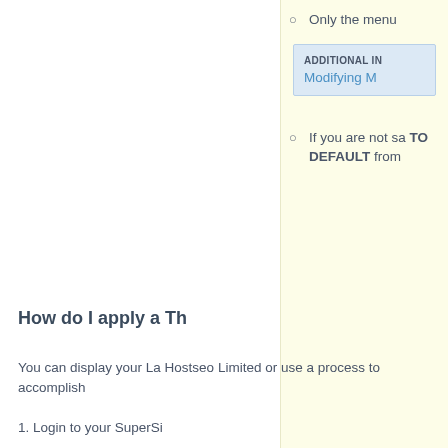Only the menu
ADDITIONAL IN
Modifying M
If you are not sa TO DEFAULT from
How do I apply a Th
You can display your La Hostseo Limited or use a process to accomplish
1. Login to your SuperSi
2. Under the My Langua